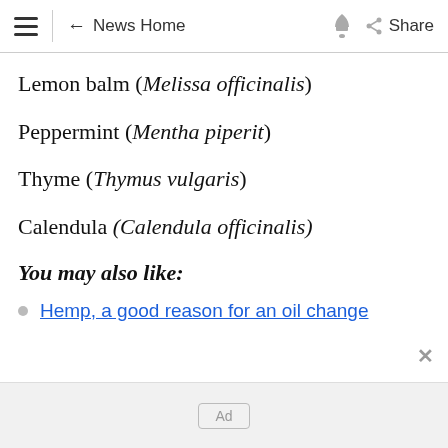≡  ← News Home  🔔  < Share
Lemon balm (Melissa officinalis)
Peppermint (Mentha piperit)
Thyme (Thymus vulgaris)
Calendula (Calendula officinalis)
You may also like:
Hemp, a good reason for an oil change
Ad